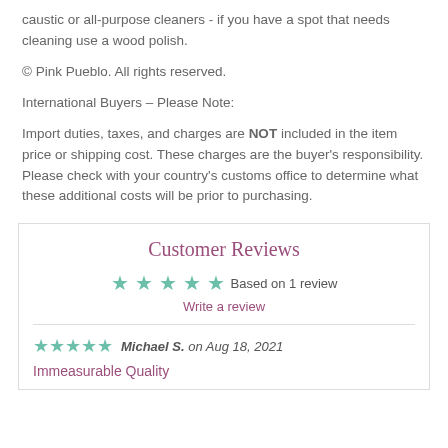caustic or all-purpose cleaners - if you have a spot that needs cleaning use a wood polish.
© Pink Pueblo. All rights reserved.
International Buyers – Please Note:
Import duties, taxes, and charges are NOT included in the item price or shipping cost. These charges are the buyer's responsibility. Please check with your country's customs office to determine what these additional costs will be prior to purchasing.
Customer Reviews
★★★★★ Based on 1 review
Write a review
★★★★★ Michael S. on Aug 18, 2021
Immeasurable Quality